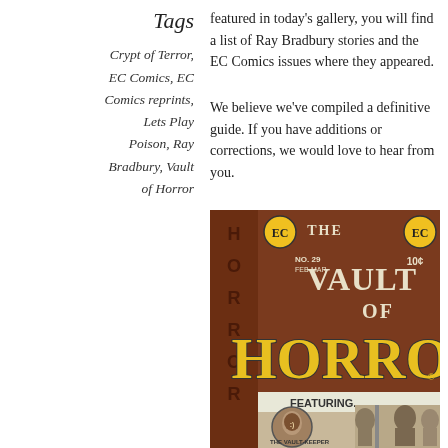Tags
Crypt of Terror, EC Comics, EC Comics reprints, Lets Play Poison, Ray Bradbury, Vault of Horror
featured in today's gallery, you will find a list of Ray Bradbury stories and the EC Comics issues where they appeared.
We believe we've compiled a definitive guide. If you have additions or corrections, we would love to hear from you.
[Figure (illustration): Cover of 'The Vault of Horror' EC Comics No. 29, showing the title in large yellow letters on a dark background with horror imagery including the Vault-Keeper character and other figures at a crypt entrance. Price 10 cents.]